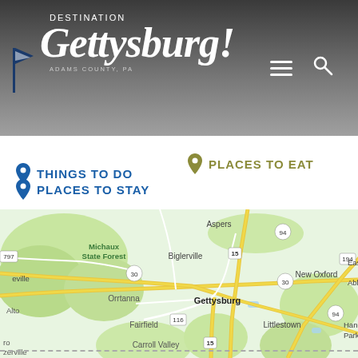[Figure (logo): Destination Gettysburg! Adams County, PA logo in white script on dark gradient header, with a blue flag icon on the left, hamburger menu and search icon on the right]
THINGS TO DO
PLACES TO STAY
PLACES TO EAT
[Figure (map): Google Maps view of the Gettysburg, Adams County Pennsylvania area showing surrounding towns including Aspers, Biglerville, Michaux State Forest, Orrtanna, Fairfield, Carroll Valley, Littlestown, New Oxford, Abbottstown, and highway routes 15, 30, 94, 116, 194, 797]